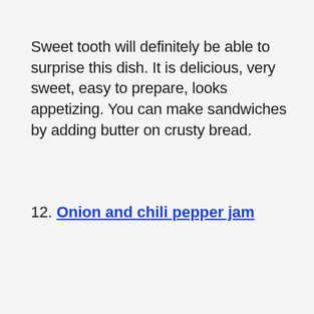Sweet tooth will definitely be able to surprise this dish. It is delicious, very sweet, easy to prepare, looks appetizing. You can make sandwiches by adding butter on crusty bread.
12. Onion and chili pepper jam